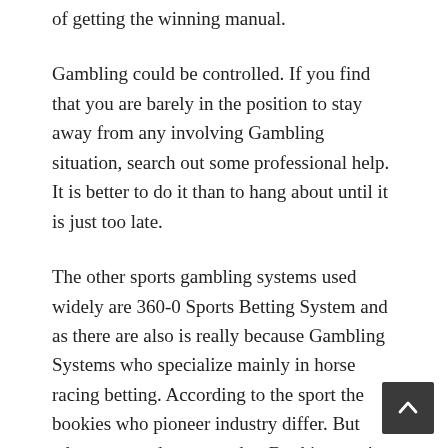of getting the winning manual.
Gambling could be controlled. If you find that you are barely in the position to stay away from any involving Gambling situation, search out some professional help. It is better to do it than to hang about until it is just too late.
The other sports gambling systems used widely are 360-0 Sports Betting System and as there are also is really because Gambling Systems who specialize mainly in horse racing betting. According to the sport the bookies who pioneer industry differ. But what you need to remember Bookies aren't Our creator. They can just predict the outcome as almost as much ast a sport lover should be able to.